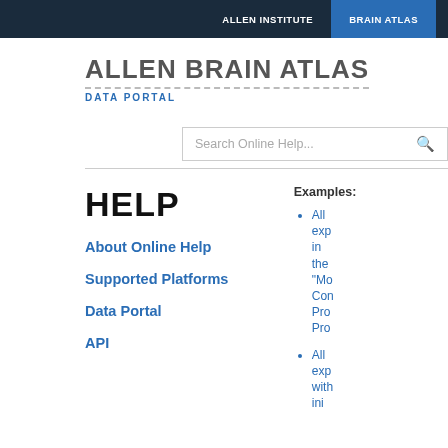ALLEN INSTITUTE | BRAIN ATLAS
ALLEN BRAIN ATLAS
DATA PORTAL
Search Online Help...
HELP
About Online Help
Supported Platforms
Data Portal
API
Examples:
All exp in the "Mo Con Pro Pro
All exp with ini